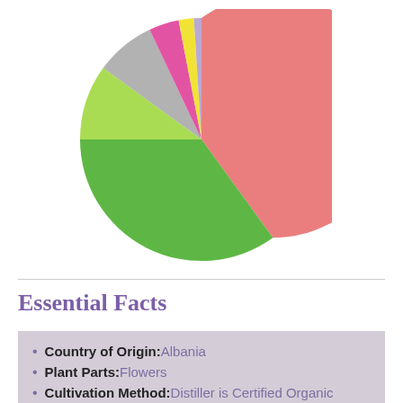[Figure (pie-chart): ]
Essential Facts
Country of Origin: Albania
Plant Parts: Flowers
Cultivation Method: Distiller is Certified Organic